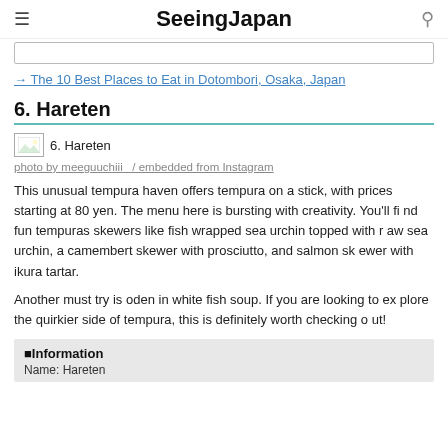SeeingJapan
→ The 10 Best Places to Eat in Dotombori, Osaka, Japan
6. Hareten
[Figure (photo): Photo labeled '6. Hareten' — Instagram embedded image placeholder]
photo by meeguuchiii_  /   embedded from Instagram
This unusual tempura haven offers tempura on a stick, with prices starting at 80 yen. The menu here is bursting with creativity. You'll find fun tempuras skewers like fish wrapped sea urchin topped with raw sea urchin, a camembert skewer with prosciutto, and salmon skewer with ikura tartar.
Another must try is oden in white fish soup. If you are looking to explore the quirkier side of tempura, this is definitely worth checking out!
| ■Information |
| Name: Hareten |